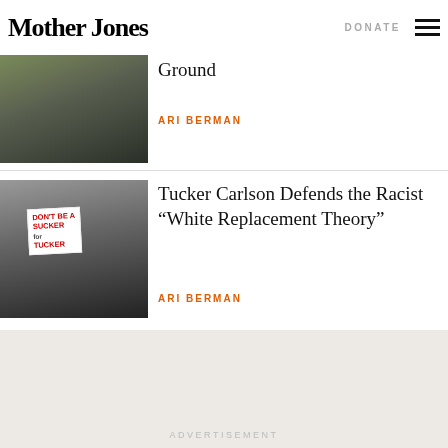Mother Jones | DONATE
Ground
ARI BERMAN
[Figure (photo): Street scene photo, partial view of article about voting ground]
Tucker Carlson Defends the Racist “White Replacement Theory”
ARI BERMAN
[Figure (photo): Protest photo with sign reading DON'T BE A SUCKER FOR TUCKER]
ADVERTISEMENT